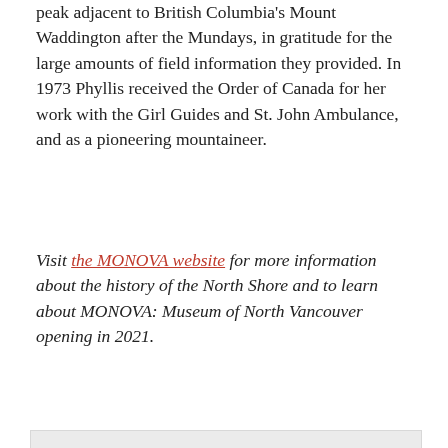peak adjacent to British Columbia's Mount Waddington after the Mundays, in gratitude for the large amounts of field information they provided. In 1973 Phyllis received the Order of Canada for her work with the Girl Guides and St. John Ambulance, and as a pioneering mountaineer.
Visit the MONOVA website for more information about the history of the North Shore and to learn about MONOVA: Museum of North Vancouver opening in 2021.
[Figure (other): Advertisement placeholder box]